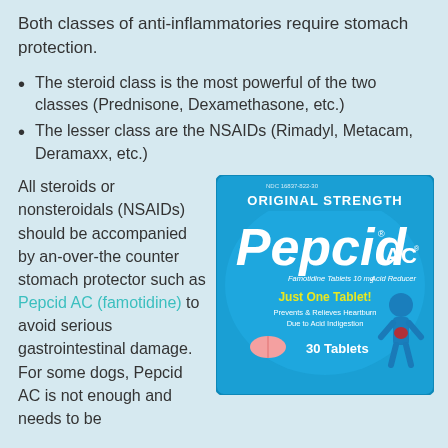Both classes of anti-inflammatories require stomach protection.
The steroid class is the most powerful of the two classes (Prednisone, Dexamethasone, etc.)
The lesser class are the NSAIDs (Rimadyl, Metacam, Deramaxx, etc.)
All steroids or nonsteroidals (NSAIDs) should be accompanied by an-over-the counter stomach protector such as Pepcid AC (famotidine) to avoid serious gastrointestinal damage. For some dogs, Pepcid AC is not enough and needs to be
[Figure (photo): Pepcid AC Original Strength box — Famotidine Tablets 10 mg Acid Reducer, Just One Tablet!, Prevents & Relieves Heartburn Due to Acid Indigestion, 30 Tablets]